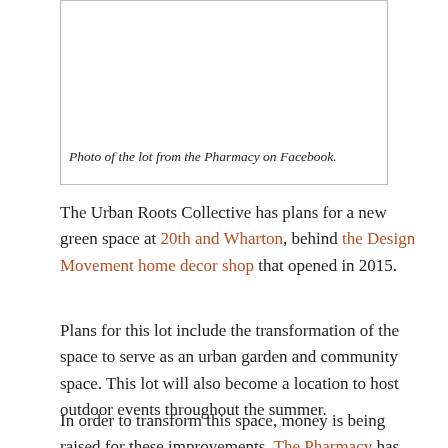[Figure (photo): White/empty photo box showing a lot, from The Pharmacy on Facebook]
Photo of the lot from the Pharmacy on Facebook.
The Urban Roots Collective has plans for a new green space at 20th and Wharton, behind the Design Movement home decor shop that opened in 2015.
Plans for this lot include the transformation of the space to serve as an urban garden and community space. This lot will also become a location to host outdoor events throughout the summer.
In order to transform this space, money is being raised for these improvements. The Pharmacy has been part of the Point Breeze community for more than two years